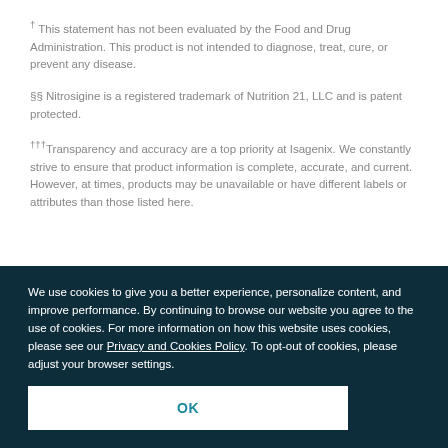† This statement has not been evaluated by the Food and Drug Administration. This product is not intended to diagnose, treat, cure, or prevent any disease.
§§ Nitrosigine is a registered trademark of Nutrition 21, LLC and is patent protected.
†††Transparency and accuracy are a top priority at Isagenix. We constantly strive to ensure that product information is complete, accurate, and current. However, at times, products may be unavailable or have different labels or attributes than those listed here.
We use cookies to give you a better experience, personalize content, and improve performance. By continuing to browse our website you agree to the use of cookies. For more information on how this website uses cookies, please see our Privacy and Cookies Policy. To opt-out of cookies, please adjust your browser settings.
OK